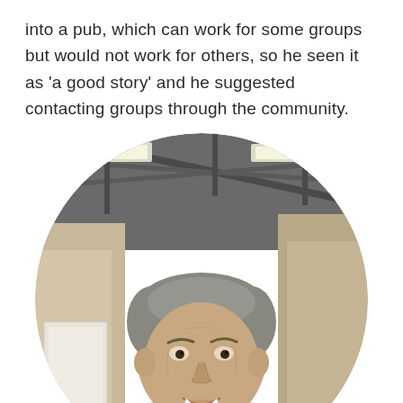into a pub, which can work for some groups but would not work for others, so he seen it as 'a good story' and he suggested contacting groups through the community.
[Figure (photo): Circular cropped photo of a middle-aged man with short grey hair, smiling, wearing a white shirt. He is photographed inside a large industrial or community hall with metal roof trusses and fluorescent lighting visible in the background.]